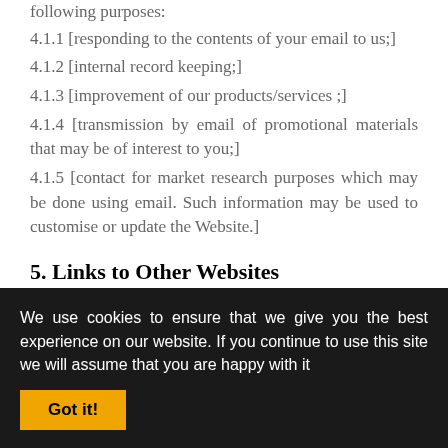following purposes:
4.1.1 [responding to the contents of your email to us;]
4.1.2 [internal record keeping;]
4.1.3 [improvement of our products/services ;]
4.1.4 [transmission by email of promotional materials that may be of interest to you;]
4.1.5 [contact for market research purposes which may be done using email. Such information may be used to customise or update the Website.]
5. Links to Other Websites
This Website may, from time to time, provide links to
We use cookies to ensure that we give you the best experience on our website. If you continue to use this site we will assume that you are happy with it
Got it!